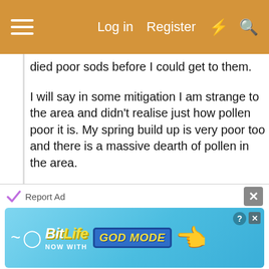Log in  Register
died poor sods before I could get to them.
I will say in some mitigation I am strange to the area and didn't realise just how pollen poor it is. My spring build up is very poor too and there is a massive dearth of pollen in the area.
The other three were very poor stocks going into winter and I am not surprised they have gone.
Just had a chat with a very competent beekeeper in Aberdeenshire (yes this has no bearing) and they are still losing hives now as the spring is so poor.
PH
[Figure (screenshot): BitLife advertisement banner with 'NOW WITH GOD MODE' text on a blue gradient background with a hand pointing left.]